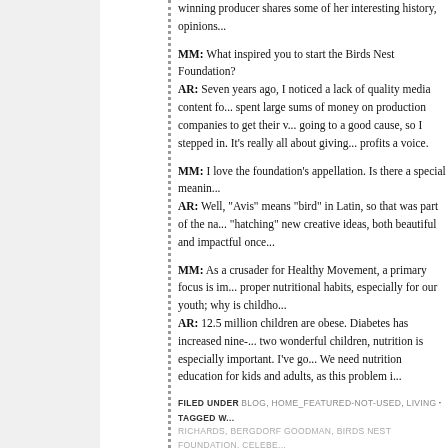winning producer shares some of her interesting history, opinions...
MM: What inspired you to start the Birds Nest Foundation?
AR: Seven years ago, I noticed a lack of quality media content fo... spent large sums of money on production companies to get their v... going to a good cause, so I stepped in. It's really all about giving... profits a voice.
MM: I love the foundation's appellation. Is there a special meanin...
AR: Well, "Avis" means "bird" in Latin, so that was part of the na... "hatching" new creative ideas, both beautiful and impactful once...
MM: As a crusader for Healthy Movement, a primary focus is im... proper nutritional habits, especially for our youth; why is childho...
AR: 12.5 million children are obese. Diabetes has increased nine-... two wonderful children, nutrition is especially important. I've go... We need nutrition education for kids and adults, as this problem i...
FILED UNDER BLOG, HOME_FEATURED-NOT-USED, LIVING · TAGGED W... RICHARDS, BERGDORF GOODMAN, BIRDS NEST FOUNDATION, CELEBE... LOUBOUTIN, CHRISTINE QUINN, CLASSIC, DIABETES, DYLAN'S LUNCH... PHENOMEN*EYES, GOLDIE HAWN, HARRY BELAFONTE, HEALTH WARR... JOHN LEGEND, JUNO TRANSFORMATIVE LIPID SERUM, KATHLEEN ROC... MALNUTRITION, MEDIA, MICHAEL BOLTON, MODERN, NEW YORK...